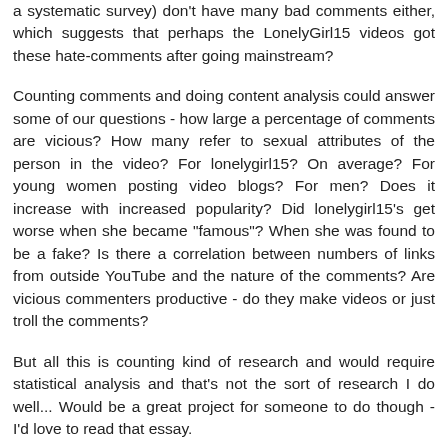a systematic survey) don't have many bad comments either, which suggests that perhaps the LonelyGirl15 videos got these hate-comments after going mainstream?
Counting comments and doing content analysis could answer some of our questions - how large a percentage of comments are vicious? How many refer to sexual attributes of the person in the video? For lonelygirl15? On average? For young women posting video blogs? For men? Does it increase with increased popularity? Did lonelygirl15's get worse when she became "famous"? When she was found to be a fake? Is there a correlation between numbers of links from outside YouTube and the nature of the comments? Are vicious commenters productive - do they make videos or just troll the comments?
But all this is counting kind of research and would require statistical analysis and that's not the sort of research I do well... Would be a great project for someone to do though - I'd love to read that essay.
Reply